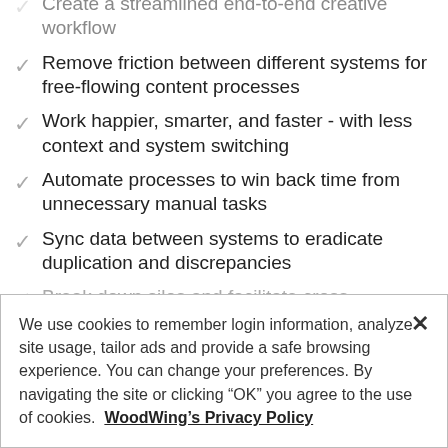Create a streamlined end-to-end creative workflow
Remove friction between different systems for free-flowing content processes
Work happier, smarter, and faster - with less context and system switching
Automate processes to win back time from unnecessary manual tasks
Sync data between systems to eradicate duplication and discrepancies
Break down silos and facilitate cross-functional
We use cookies to remember login information, analyze site usage, tailor ads and provide a safe browsing experience. You can change your preferences. By navigating the site or clicking “OK” you agree to the use of cookies. WoodWing’s Privacy Policy